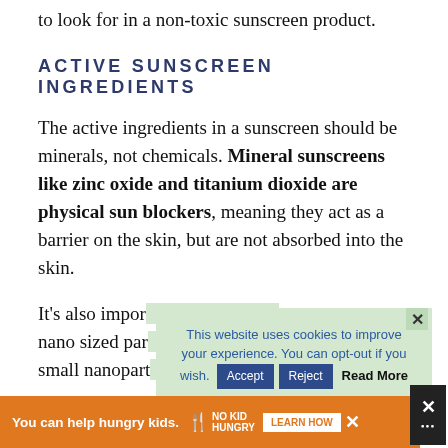to look for in a non-toxic sunscreen product.
ACTIVE SUNSCREEN INGREDIENTS
The active ingredients in a sunscreen should be minerals, not chemicals. Mineral sunscreens like zinc oxide and titanium dioxide are physical sun blockers, meaning they act as a barrier on the skin, but are not absorbed into the skin.
It’s also impor[tant to avoid] nano sized par[ticles...] small nanopart[icles...]
[Figure (screenshot): Cookie consent popup overlay on light green background reading: 'This website uses cookies to improve your experience. You can opt-out if you wish.' with Accept and Reject buttons and a Read More link]
[Figure (screenshot): Advertisement banner: orange background with 'You can help hungry kids.' text, No Kid Hungry logo with fork icon, and LEARN HOW button]